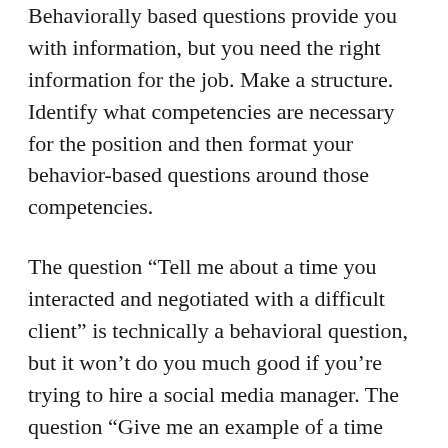Behaviorally based questions provide you with information, but you need the right information for the job. Make a structure. Identify what competencies are necessary for the position and then format your behavior-based questions around those competencies.
The question “Tell me about a time you interacted and negotiated with a difficult client” is technically a behavioral question, but it won’t do you much good if you’re trying to hire a social media manager. The question “Give me an example of a time when you had to give a dynamic presentation” is an appropriate question for a trainer or sales representative, but not necessarily for a coder. “Share with me a time that illustrates your ability to follow